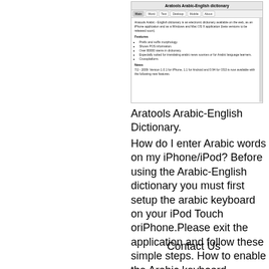[Figure (screenshot): Screenshot of Aratools Arabic-English dictionary website showing navigation tabs (Main, Word, Text, Desktop, Mobile, About), a description of the product, a Features section with bullet points (Prefix and suffix morphology, Shows POS information, Over 80000 stems in dictionary, Especially suited for translating arabic news sources or for Arabic language learners, Crossplatform), and a News section.]
Aratools Arabic-English Dictionary.
How do I enter Arabic words on my iPhone/iPod? Before using the Arabic-English dictionary you must first setup the arabic keyboard on your iPod Touch oriPhone.Please exit the application and follow these simple steps. How to enable the Arabic keyboard.
Contact Us